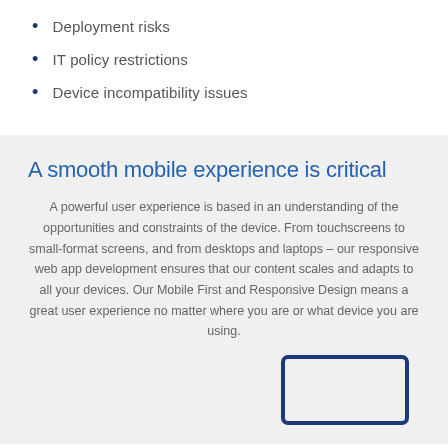Deployment risks
IT policy restrictions
Device incompatibility issues
A smooth mobile experience is critical
A powerful user experience is based in an understanding of the opportunities and constraints of the device. From touchscreens to small-format screens, and from desktops and laptops – our responsive web app development ensures that our content scales and adapts to all your devices. Our Mobile First and Responsive Design means a great user experience no matter where you are or what device you are using.
[Figure (illustration): Partial outline of a monitor/screen device illustration in blue]